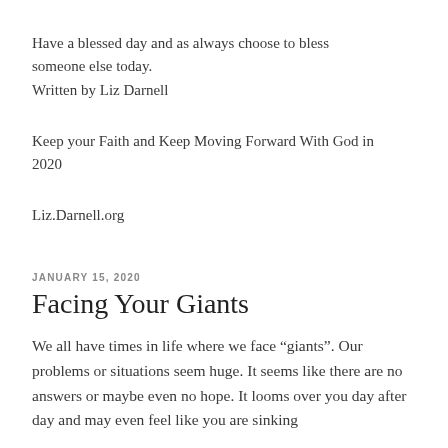Have a blessed day and as always choose to bless someone else today.
Written by Liz Darnell
Keep your Faith and Keep Moving Forward With God in 2020
Liz.Darnell.org
JANUARY 15, 2020
Facing Your Giants
We all have times in life where we face “giants”. Our problems or situations seem huge. It seems like there are no answers or maybe even no hope. It looms over you day after day and may even feel like you are sinking